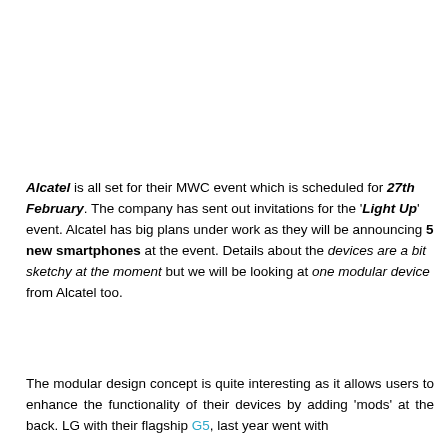[Figure (photo): White/blank image area at top of page]
Alcatel is all set for their MWC event which is scheduled for 27th February. The company has sent out invitations for the 'Light Up' event. Alcatel has big plans under work as they will be announcing 5 new smartphones at the event. Details about the devices are a bit sketchy at the moment but we will be looking at one modular device from Alcatel too.
The modular design concept is quite interesting as it allows users to enhance the functionality of their devices by adding 'mods' at the back. LG with their flagship G5, last year went with